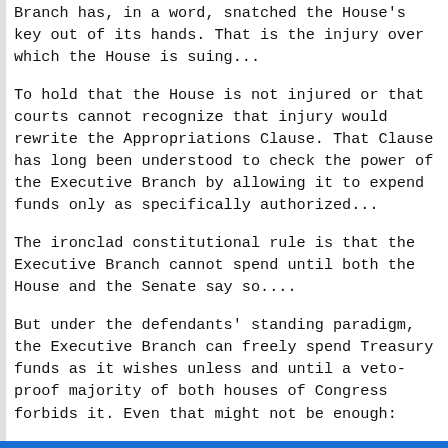Branch has, in a word, snatched the House's key out of its hands. That is the injury over which the House is suing...
To hold that the House is not injured or that courts cannot recognize that injury would rewrite the Appropriations Clause. That Clause has long been understood to check the power of the Executive Branch by allowing it to expend funds only as specifically authorized...
The ironclad constitutional rule is that the Executive Branch cannot spend until both the House and the Senate say so....
But under the defendants' standing paradigm, the Executive Branch can freely spend Treasury funds as it wishes unless and until a veto-proof majority of both houses of Congress forbids it. Even that might not be enough: